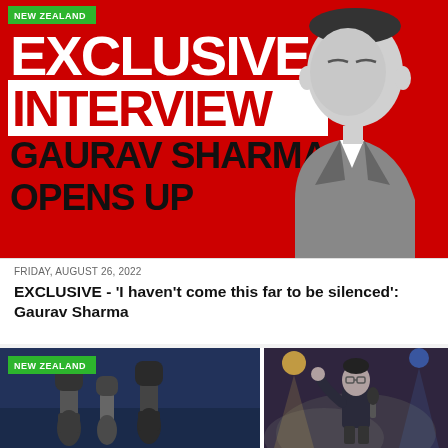[Figure (photo): Red promotional banner with 'EXCLUSIVE INTERVIEW - GAURAV SHARMA OPENS UP' text in large bold white and black letters on red background, with a black and white photo of Gaurav Sharma (man in suit and glasses) on the right side. Green 'NEW ZEALAND' badge in top left corner.]
FRIDAY, AUGUST 26, 2022
EXCLUSIVE - 'I haven't come this far to be silenced': Gaurav Sharma
[Figure (photo): Photo of hands holding microphones against a dark blue sky background. Green 'NEW ZEALAND' badge in top left corner.]
[Figure (photo): Photo of a man performing or speaking on a stage with dramatic lighting and haze/smoke effect.]